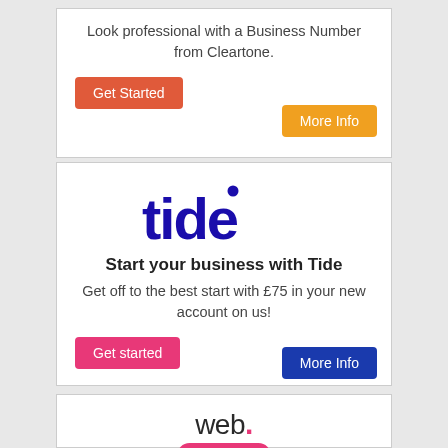Look professional with a Business Number from Cleartone.
[Figure (other): Red 'Get Started' button and orange 'More Info' button for Cleartone ad]
[Figure (logo): Tide logo in dark blue bold text]
Start your business with Tide
Get off to the best start with £75 in your new account on us!
[Figure (other): Pink 'Get started' button and dark blue 'More Info' button for Tide ad]
[Figure (logo): web. logo with red dot and TotalChat pill label in pink]